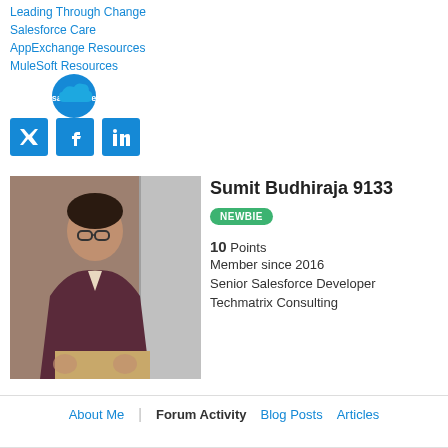Leading Through Change
Salesforce Care
AppExchange Resources
MuleSoft Resources
[Figure (logo): Salesforce cloud logo in blue]
[Figure (logo): Social media icons: Twitter, Facebook, LinkedIn]
[Figure (photo): Profile photo of Sumit Budhiraja 9133, a man in a maroon blazer]
Sumit Budhiraja 9133
NEWBIE
10 Points
Member since 2016
Senior Salesforce Developer
Techmatrix Consulting
About Me | Forum Activity Blog Posts Articles